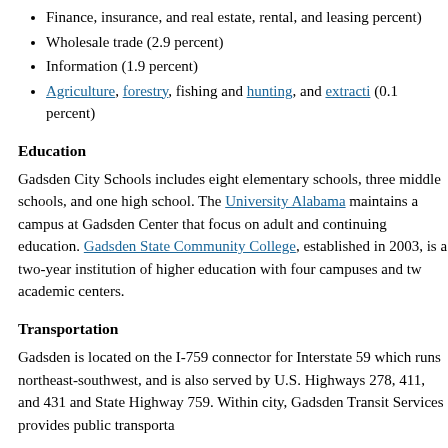Finance, insurance, and real estate, rental, and leasing percent)
Wholesale trade (2.9 percent)
Information (1.9 percent)
Agriculture, forestry, fishing and hunting, and extracti (0.1 percent)
Education
Gadsden City Schools includes eight elementary schools, three middle schools, and one high school. The University Alabama maintains a campus at Gadsden Center that focus on adult and continuing education. Gadsden State Community College, established in 2003, is a two-year institution of higher education with four campuses and tw academic centers.
Transportation
Gadsden is located on the I-759 connector for Interstate 59 which runs northeast-southwest, and is also served by U.S. Highways 278, 411, and 431 and State Highway 759. Within city, Gadsden Transit Services provides public transporta